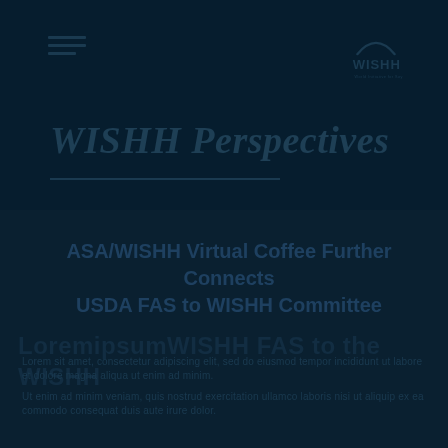[Figure (logo): WISHH logo in top right — circular arc above text 'WISHH']
WISHH Perspectives
ASA/WISHH Virtual Coffee Further Connects USDA FAS to WISHH Committee
Lorem ipsum style body text (obscured/watermarked in original)
Lorem ipsum style body text line 2 (obscured/watermarked in original)
Lorem ipsum style body text line 3 (obscured/watermarked in original)